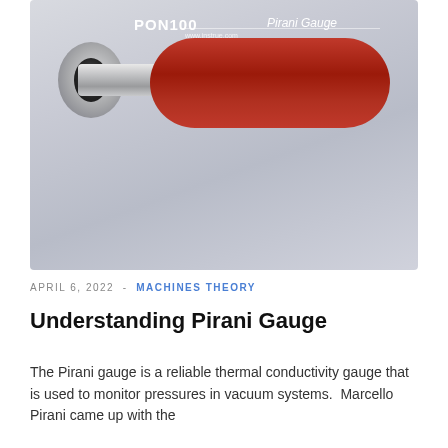[Figure (photo): Photo of a PON100 Pirani Gauge — a cylindrical red anodized aluminum body with a stainless steel KF vacuum flange connector on the left end. Text on the body reads 'PON100 Pirani Gauge' and 'www.instrue.com'. Background is a light grey-blue gradient.]
APRIL 6, 2022  -  MACHINES THEORY
Understanding Pirani Gauge
The Pirani gauge is a reliable thermal conductivity gauge that is used to monitor pressures in vacuum systems.  Marcello Pirani came up with the